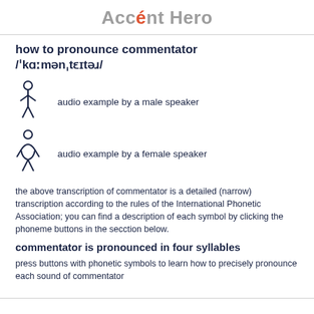Accént Hero
how to pronounce commentator /ˈkɑːmənˌtɛɪtəɹ/
audio example by a male speaker
audio example by a female speaker
the above transcription of commentator is a detailed (narrow) transcription according to the rules of the International Phonetic Association; you can find a description of each symbol by clicking the phoneme buttons in the secction below.
commentator is pronounced in four syllables
press buttons with phonetic symbols to learn how to precisely pronounce each sound of commentator